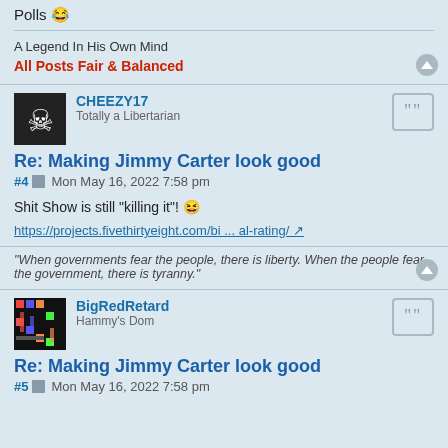Polls 😂
A Legend In His Own Mind
All Posts Fair & Balanced
CHEEZY17
Totally a Libertarian
Re: Making Jimmy Carter look good
#4  Mon May 16, 2022 7:58 pm
Shit Show is still "killing it"! 😆
https://projects.fivethirtyeight.com/bi ... al-rating/
"When governments fear the people, there is liberty. When the people fear the government, there is tyranny."
BigRedRetard
Hammy's Dom
Re: Making Jimmy Carter look good
#5  Mon May 16, 2022 7:58 pm